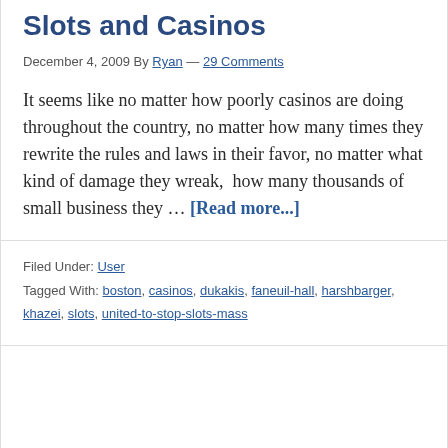Slots and Casinos
December 4, 2009 By Ryan — 29 Comments
It seems like no matter how poorly casinos are doing throughout the country, no matter how many times they rewrite the rules and laws in their favor, no matter what kind of damage they wreak,  how many thousands of small business they … [Read more...]
Filed Under: User
Tagged With: boston, casinos, dukakis, faneuil-hall, harshbarger, khazei, slots, united-to-stop-slots-mass